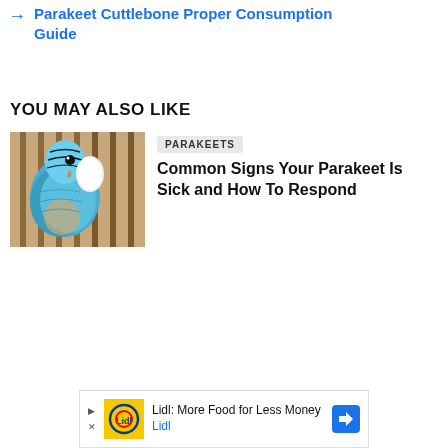→ Parakeet Cuttlebone Proper Consumption Guide
YOU MAY ALSO LIKE
[Figure (photo): Close-up photo of a blue and white parakeet eating a cuttlebone attached to cage bars]
PARAKEETS
Common Signs Your Parakeet Is Sick and How To Respond
[Figure (other): Lidl advertisement banner: Lidl: More Food for Less Money / Lidl]